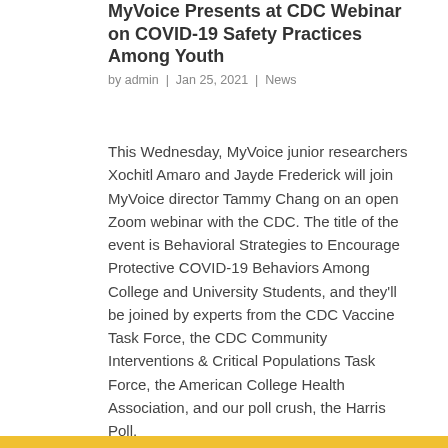MyVoice Presents at CDC Webinar on COVID-19 Safety Practices Among Youth
by admin | Jan 25, 2021 | News
This Wednesday, MyVoice junior researchers Xochitl Amaro and Jayde Frederick will join MyVoice director Tammy Chang on an open Zoom webinar with the CDC. The title of the event is Behavioral Strategies to Encourage Protective COVID-19 Behaviors Among College and University Students, and they'll be joined by experts from the CDC Vaccine Task Force, the CDC Community Interventions & Critical Populations Task Force, the American College Health Association, and our poll crush, the Harris Poll.